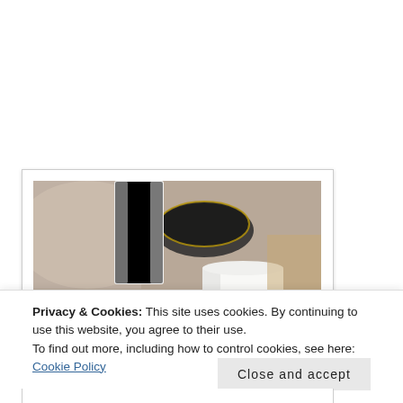[Figure (photo): A close-up photo of white pillar candles surrounded by decorative elements including pearl-like beads, small white pumpkins, and other fall/holiday table decor items on a table setting.]
Privacy & Cookies: This site uses cookies. By continuing to use this website, you agree to their use.
To find out more, including how to control cookies, see here: Cookie Policy
Close and accept